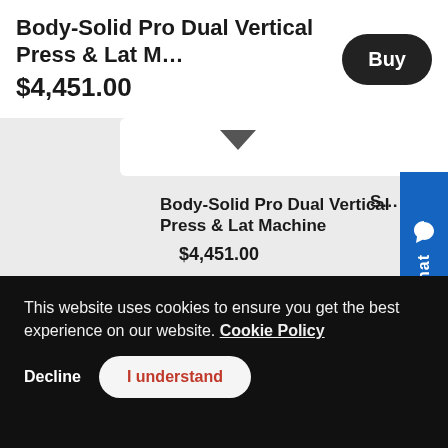Body-Solid Pro Dual Vertical Press & Lat Machine
$4,451.00
Buy
Body-Solid Pro Dual Vertical Press & Lat Machine
$4,451.00
Live Chat
This website uses cookies to ensure you get the best experience on our website. Cookie Policy
Decline
I understand